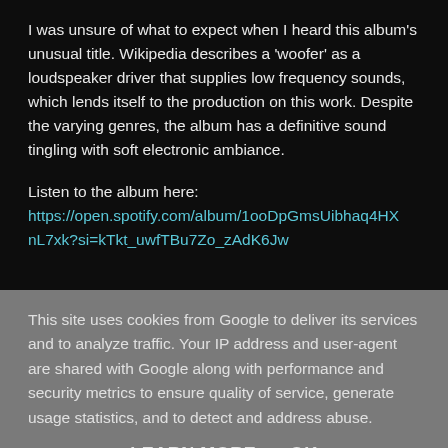I was unsure of what to expect when I heard this album's unusual title. Wikipedia describes a 'woofer' as a loudspeaker driver that supplies low frequency sounds, which lends itself to the production on this work. Despite the varying genres, the album has a definitive sound tingling with soft electronic ambiance.
Listen to the album here: https://open.spotify.com/album/1ooDpGmsUibhaq4HXnL7xk?si=kTkt_uwfTBu7Zo_zAdK6Jw
This site uses cookies from Google to deliver its services and to analyze traffic. Your IP address and user-agent are shared with Google along with performance and security metrics to ensure quality of service, generate usage statistics, and to detect and address abuse.
LEARN MORE   OK